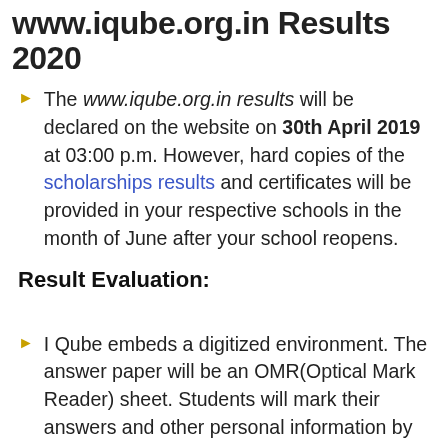www.iqube.org.in Results 2020
The www.iqube.org.in results will be declared on the website on 30th April 2019 at 03:00 p.m. However, hard copies of the scholarships results and certificates will be provided in your respective schools in the month of June after your school reopens.
Result Evaluation:
I Qube embeds a digitized environment. The answer paper will be an OMR(Optical Mark Reader) sheet. Students will mark their answers and other personal information by